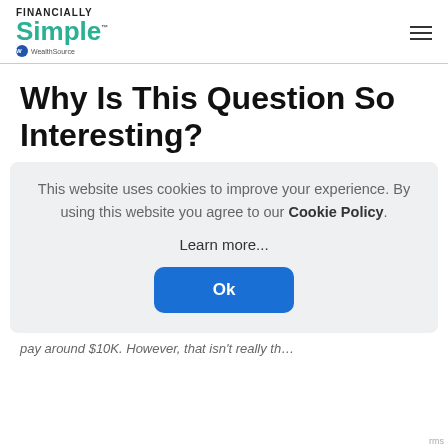FINANCIALLY Simple — a division of WealthSource
Why Is This Question So Interesting?
This website uses cookies to improve your experience. By using this website you agree to our Cookie Policy.

Learn more...

Ok
pay around $10K. However, that isn't really th…